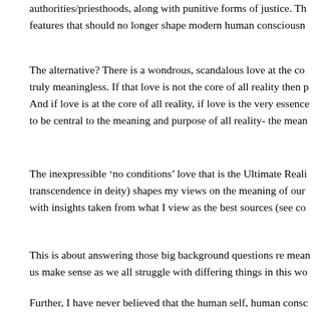authorities/priesthoods, along with punitive forms of justice. Th features that should no longer shape modern human consciousn
The alternative? There is a wondrous, scandalous love at the co truly meaningless. If that love is not the core of all reality then p And if love is at the core of all reality, if love is the very essence to be central to the meaning and purpose of all reality- the mean
The inexpressible ‘no conditions’ love that is the Ultimate Reali transcendence in deity) shapes my views on the meaning of our with insights taken from what I view as the best sources (see co
This is about answering those big background questions re mean us make sense as we all struggle with differing things in this wo
Further, I have never believed that the human self, human consc brain and body. I used to follow the brain/mind and con usne I have never seen a shred of evidence that the meat in our skulls mind/consciousness or the human self. There is no such evida